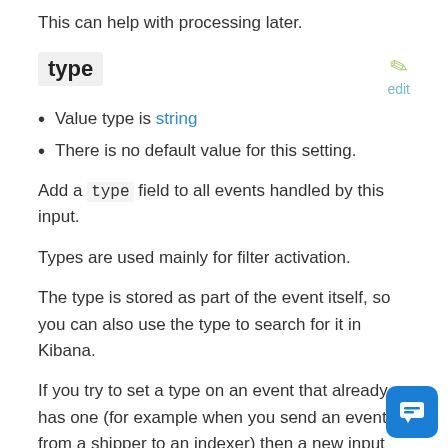This can help with processing later.
type
Value type is string
There is no default value for this setting.
Add a type field to all events handled by this input.
Types are used mainly for filter activation.
The type is stored as part of the event itself, so you can also use the type to search for it in Kibana.
If you try to set a type on an event that already has one (for example when you send an event from a shipper to an indexer) then a new input will not override the existing type. A type set at the shipper stays with that event for its life even when sent to another logstash.